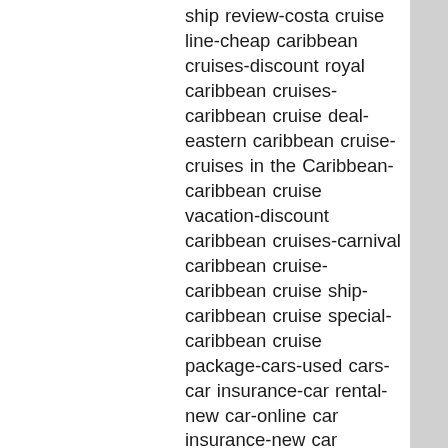ship review-costa cruise line-cheap caribbean cruises-discount royal caribbean cruises-caribbean cruise deal-eastern caribbean cruise-cruises in the Caribbean-caribbean cruise vacation-discount caribbean cruises-carnival caribbean cruise-caribbean cruise ship-caribbean cruise special-caribbean cruise package-cars-used cars-car insurance-car rental-new car-online car insurance-new car purchase-used car dealer-car wash-classic car-car for sale-car finance-car auction-car accessory-car movie-car ticket-car accident-car game-car show-car online-car insurance rate-car crash-car chasing-car seat-buy new car-hybrid car-best hybrid car-used hybrid car-new hybrid car-hybrid car review-car hybrid sale-automobile financing-automobile loan-automobile dealer-automobile repair-automobile magazine-automobile transport-automobile association-automobile review-automobile shipping-automobile sales-automobile industry-automobile part store-automobile quote-automobile engine-automobile storage-automobile prices-automobile dealerships-used car-used car dealer-used car chicago-used car houston-used car